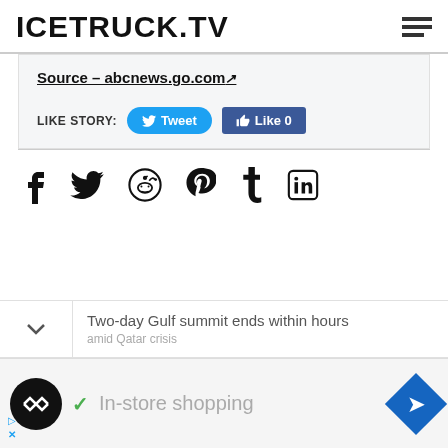ICETRUCK.TV
Source – abcnews.go.com↗
LIKE STORY: Tweet  Like 0
[Figure (other): Social media sharing icons: Facebook, Twitter, Reddit, Pinterest, Tumblr, LinkedIn]
Two-day Gulf summit ends within hours amid Qatar crisis
[Figure (other): Advertisement banner: In-store shopping with logo and navigation arrow icon]